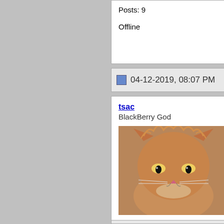Posts: 9

Offline
04-12-2019, 08:07 PM
tsac
BlackBerry God
Join Date: Mar 2005
Location: Others run out when we run in
Model: Z10
OS: Cheerios
PIN: No Pin just a Tack
Carrier: at&t
Posts: 10,030

Offline
Re: K

I will co... Forums r... upgrade ... suggest i... downgra... You mig...

Z10 on b...
Z10 on b...